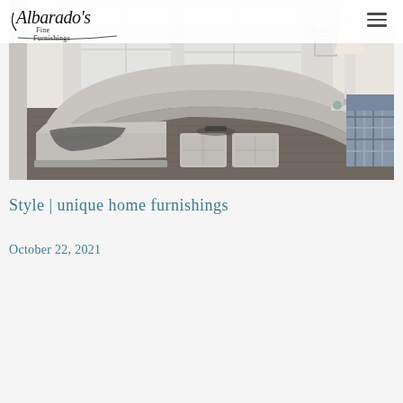[Figure (logo): Albarado's Fine Furnishings cursive logo in black script with decorative styling]
[Figure (photo): Interior room scene showing a large light grey curved sectional sofa with chaise, two square ottomans on a dark hardwood floor, windows in background, and a plaid accent chair on the right edge]
Style | unique home furnishings
October 22, 2021